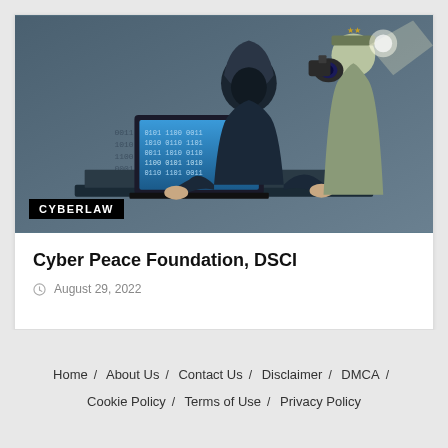[Figure (illustration): Comic-style illustration of a hooded figure typing on a laptop with binary code on screen, and an armed guard/robot figure standing behind. A 'CYBERLAW' badge overlays the bottom-left of the image.]
Cyber Peace Foundation, DSCI
August 29, 2022
Home / About Us / Contact Us / Disclaimer / DMCA / Cookie Policy / Terms of Use / Privacy Policy